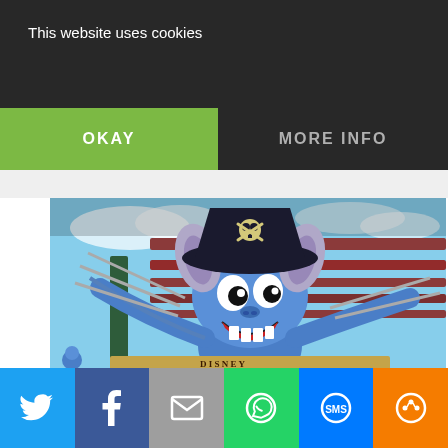This website uses cookies
OKAY
MORE INFO
[Figure (photo): Disney's Stitch character dressed as a pirate, holding swords, mounted on a building facade with a wooden pergola structure and blue sky background at a Disney park location in Orlando]
[Figure (infographic): Social media sharing bar with icons for Twitter, Facebook, Email, WhatsApp, SMS, and other sharing options]